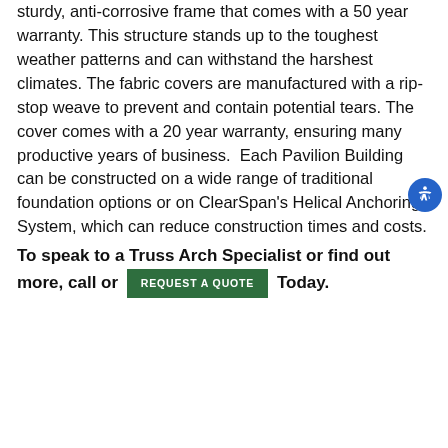sturdy, anti-corrosive frame that comes with a 50 year warranty. This structure stands up to the toughest weather patterns and can withstand the harshest climates. The fabric covers are manufactured with a rip-stop weave to prevent and contain potential tears. The cover comes with a 20 year warranty, ensuring many productive years of business.  Each Pavilion Building can be constructed on a wide range of traditional foundation options or on ClearSpan's Helical Anchoring System, which can reduce construction times and costs.
To speak to a Truss Arch Specialist or find out more, call or REQUEST A QUOTE Today.